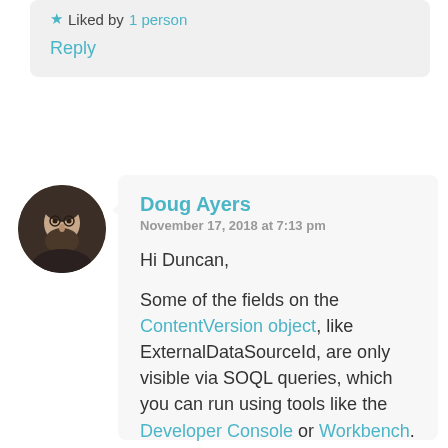★ Liked by 1 person
Reply
Doug Ayers
November 17, 2018 at 7:13 pm

Hi Duncan,

Some of the fields on the ContentVersion object, like ExternalDataSourceId, are only visible via SOQL queries, which you can run using tools like the Developer Console or Workbench.